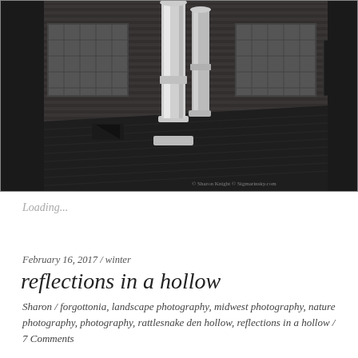[Figure (photo): Black and white photograph of a brick building rooftop with two large metal cylindrical chimneys/pipes rising from a dark shingled roof. The brick wall background has glass block windows and rectangular window openings. Copyright watermark reads '© Sharon Knight © Sigmarinsky.com'.]
Loading...
February 16, 2017 / winter
reflections in a hollow
Sharon / forgottonia, landscape photography, midwest photography, nature photography, photography, rattlesnake den hollow, reflections in a hollow / 7 Comments